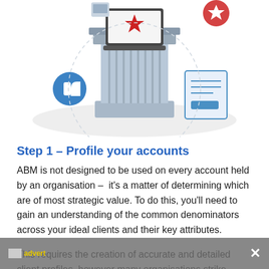[Figure (illustration): Decorative illustration showing a classical stone column/pillar with a laptop on top displaying a red star/award badge, surrounded by icons: a thumbs up (like), a document/form, and partial icons at edges. A light grey shadow arc extends behind. Style is flat design with grey-blue tones.]
Step 1 – Profile your accounts
ABM is not designed to be used on every account held by an organisation –  it's a matter of determining which are of most strategic value. To do this, you'll need to gain an understanding of the common denominators across your ideal clients and their key attributes.
This requires the creation of accurate and detailed client profiles, however many organisations strike problems when it comes to obtaining account-level d...